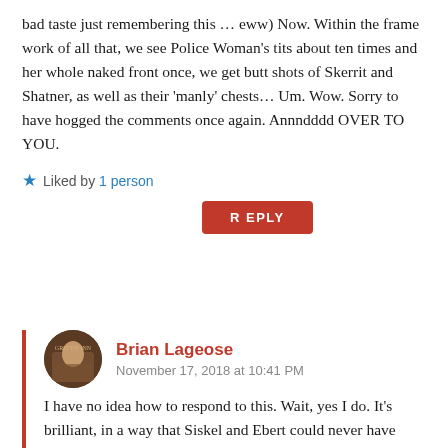bad taste just remembering this … eww) Now. Within the frame work of all that, we see Police Woman's tits about ten times and her whole naked front once, we get butt shots of Skerrit and Shatner, as well as their 'manly' chests… Um. Wow. Sorry to have hogged the comments once again. Annndddd OVER TO YOU.
★ Liked by 1 person
REPLY
Brian Lageose
November 17, 2018 at 10:41 PM
I have no idea how to respond to this. Wait, yes I do. It's brilliant, in a way that Siskel and Ebert could never have hoped to be, even on their good days. I feel a